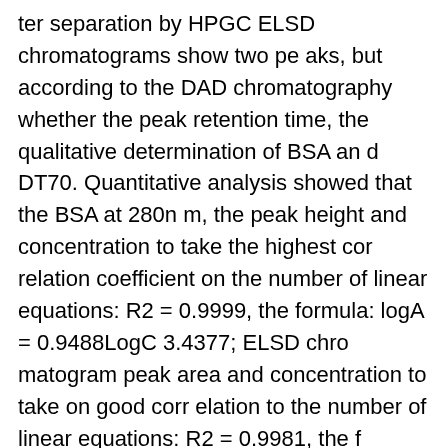ter separation by HPGC ELSD chromatograms show two peaks, but according to the DAD chromatography whether the peak retention time, the qualitative determination of BSA and DT70. Quantitative analysis showed that the BSA at 280nm, the peak height and concentration to take the highest correlation coefficient on the number of linear equations: R2 = 0.9999, the formula: logA = 0.9488LogC 3.4377; ELSD chromatogram peak area and concentration to take on good correlation to the number of linear equations: R2 = 0.9981, the formula: logA = 1.3649LogC 6.6932. DT70 ELSD chromatogram peak height and concentration to take a good correlation to the number of linear equations: R2 = 0.999, the formula: logA = 0.9139LogC 6.2925. BSA and DT70 spiked recoveries in the range of 95% to 103%, the minimum detection limit were 50ng, 24ng, better precision and variability were smaller. Detector series sequence of cause bovine serum albumin in the ELSD chromatogram retention time than DAD chro